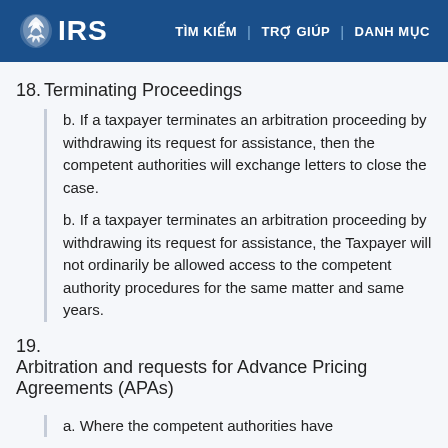IRS | TÌM KIẾM | TRỢ GIÚP | DANH MỤC
18. Terminating Proceedings
a. If a taxpayer terminates an arbitration proceeding by withdrawing its request for assistance, then the competent authorities will exchange letters to close the case.
b. If a taxpayer terminates an arbitration proceeding by withdrawing its request for assistance, the Taxpayer will not ordinarily be allowed access to the competent authority procedures for the same matter and same years.
19. Arbitration and requests for Advance Pricing Agreements (APAs)
a. Where the competent authorities have